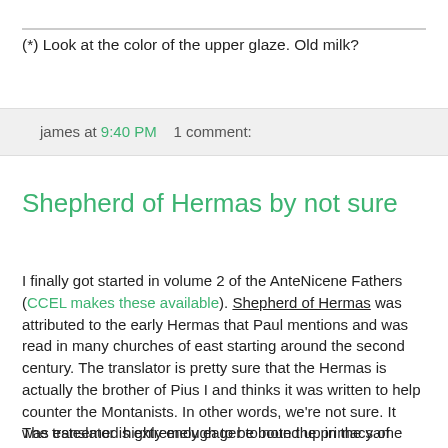(*) Look at the color of the upper glaze. Old milk?
james at 9:40 PM    1 comment:
Shepherd of Hermas by not sure
I finally got started in volume 2 of the AnteNicene Fathers (CCEL makes these available). Shepherd of Hermas was attributed to the early Hermas that Paul mentions and was read in many churches of east starting around the second century. The translator is pretty sure that the Hermas is actually the brother of Pius I and thinks it was written to help counter the Montanists. In other words, we're not sure. It was esteemed highly enough to be bound up in the same volume with the gospels and Paul's letters, but some were dubious and it seems to have vanished from use by the fifth century.
The translator is extremely eager to note the primacy of